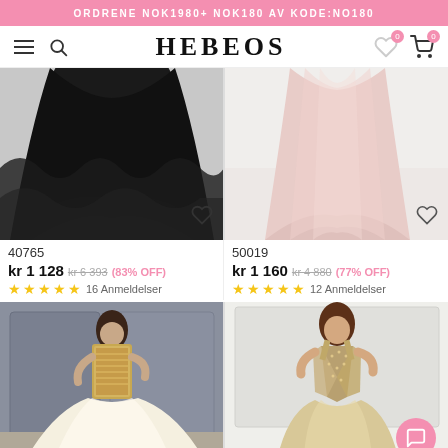ORDRENE NOK1980+ NOK180 AV KODE:NO180
HEBEOS
[Figure (photo): Black ball gown dress bottom half, tulle skirt]
[Figure (photo): Pink ball gown dress bottom half, satin skirt]
40765
kr 1 128  kr 6 393 (83% OFF)
★★★★★ 16 Anmeldelser
50019
kr 1 160  kr 4 880 (77% OFF)
★★★★★ 12 Anmeldelser
[Figure (photo): Woman in gold-embellished white ball gown against grey wall]
[Figure (photo): Woman in beige sequined gown with V-neck]